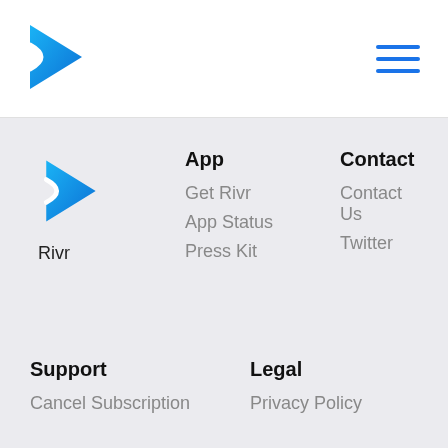[Figure (logo): Rivr app logo - blue play button arrow shape with white S curve]
[Figure (other): Hamburger menu icon - three horizontal blue lines]
[Figure (logo): Rivr app logo smaller version in footer]
Rivr
App
Get Rivr
App Status
Press Kit
Contact
Contact Us
Twitter
Support
Cancel Subscription
Legal
Privacy Policy